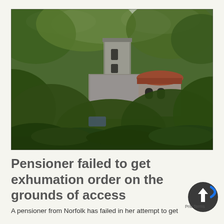[Figure (photo): Photograph of an old stone church with a square tower, surrounded by dense green trees and hedgerows, viewed from a distance through foliage. A red-tiled roof section is visible to the right.]
Pensioner failed to get exhumation order on the grounds of access
A pensioner from Norfolk has failed in her attempt to get an order of exhumation on the grounds of access to the churchyard. She petitioned the Church...